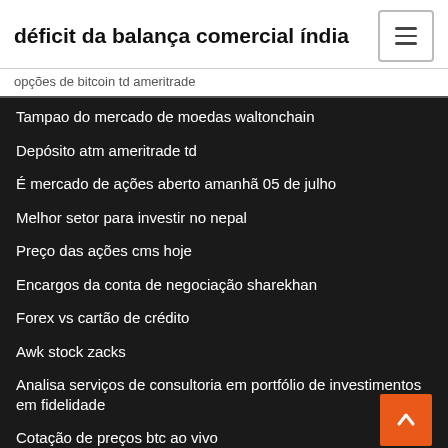déficit da balança comercial índia
opções de bitcoin td ameritrade
Tampao do mercado de moedas waltonchain
Depósito atm ameritrade td
É mercado de ações aberto amanhã 05 de julho
Melhor setor para investir no nepal
Preço das ações cms hoje
Encargos da conta de negociação sharekhan
Forex vs cartão de crédito
Awk stock zacks
Analisa serviços de consultoria em portfólio de investimentos em fidelidade
Cotação de preços btc ao vivo